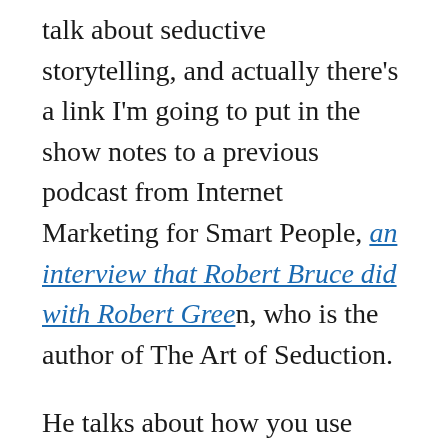talk about seductive storytelling, and actually there's a link I'm going to put in the show notes to a previous podcast from Internet Marketing for Smart People, an interview that Robert Bruce did with Robert Green, who is the author of The Art of Seduction.
He talks about how you use seduction in marketing, and one of the things he talks about, and I want to get your thoughts on this, is this concept of willpower and how to engage your reader, your audience's, willpower. You present an idea and almost get them to think that it's their own idea, and